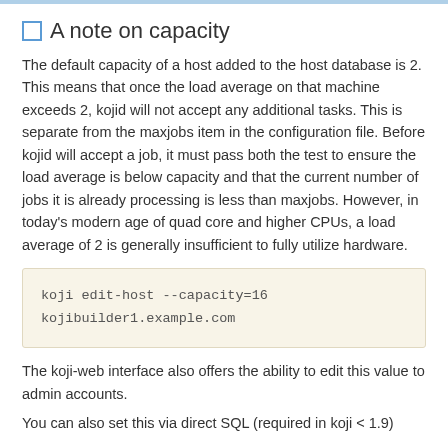A note on capacity
The default capacity of a host added to the host database is 2. This means that once the load average on that machine exceeds 2, kojid will not accept any additional tasks. This is separate from the maxjobs item in the configuration file. Before kojid will accept a job, it must pass both the test to ensure the load average is below capacity and that the current number of jobs it is already processing is less than maxjobs. However, in today's modern age of quad core and higher CPUs, a load average of 2 is generally insufficient to fully utilize hardware.
koji edit-host --capacity=16
kojibuilder1.example.com
The koji-web interface also offers the ability to edit this value to admin accounts.
You can also set this via direct SQL (required in koji < 1.9)